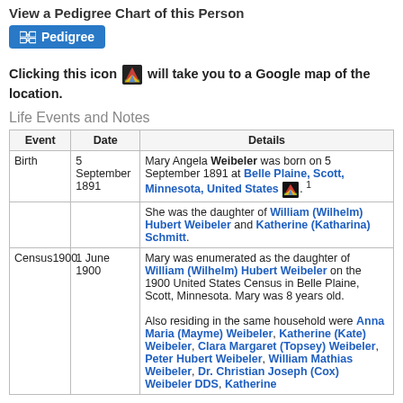View a Pedigree Chart of this Person
[Figure (other): Blue Pedigree button with icon]
Clicking this icon [google maps icon] will take you to a Google map of the location.
Life Events and Notes
| Event | Date | Details |
| --- | --- | --- |
| Birth | 5 September 1891 | Mary Angela Weibeler was born on 5 September 1891 at Belle Plaine, Scott, Minnesota, United States. She was the daughter of William (Wilhelm) Hubert Weibeler and Katherine (Katharina) Schmitt. |
| Census1900 | 1 June 1900 | Mary was enumerated as the daughter of William (Wilhelm) Hubert Weibeler on the 1900 United States Census in Belle Plaine, Scott, Minnesota. Mary was 8 years old.

Also residing in the same household were Anna Maria (Mayme) Weibeler, Katherine (Kate) Weibeler, Clara Margaret (Topsey) Weibeler, Peter Hubert Weibeler, William Mathias Weibeler, Dr. Christian Joseph (Cox) Weibeler DDS, Katherine... |